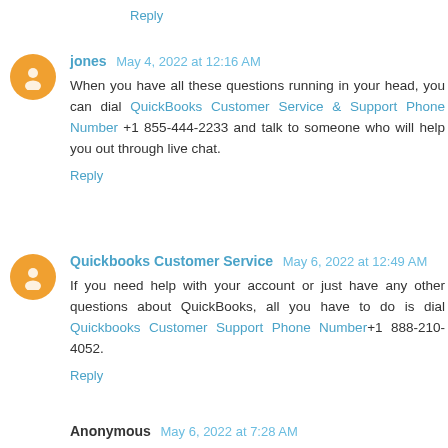Reply
jones May 4, 2022 at 12:16 AM
When you have all these questions running in your head, you can dial QuickBooks Customer Service & Support Phone Number +1 855-444-2233 and talk to someone who will help you out through live chat.
Reply
Quickbooks Customer Service May 6, 2022 at 12:49 AM
If you need help with your account or just have any other questions about QuickBooks, all you have to do is dial Quickbooks Customer Support Phone Number+1 888-210-4052.
Reply
Anonymous May 6, 2022 at 7:28 AM